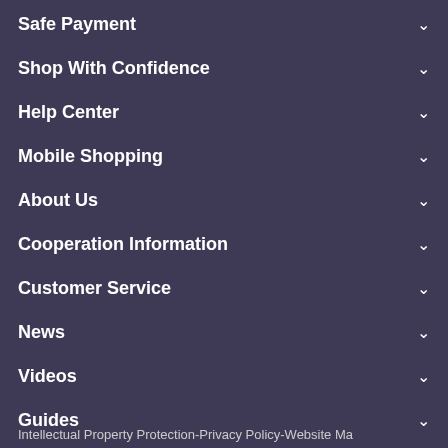Safe Payment
Shop With Confidence
Help Center
Mobile Shopping
About Us
Cooperation Information
Customer Service
News
Videos
Guides
Intellectual Property Protection-Privacy Policy-Website Ma